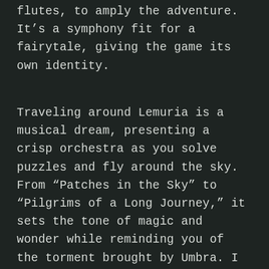flutes, to amply the adventure. It's a symphony fit for a fairytale, giving the game its own identity.
Traveling around Lemuria is a musical dream, presenting a crisp orchestra as you solve puzzles and fly around the sky. From “Patches in the Sky” to “Pilgrims of a Long Journey,” it sets the tone of magic and wonder while reminding you of the torment brought by Umbra. I can